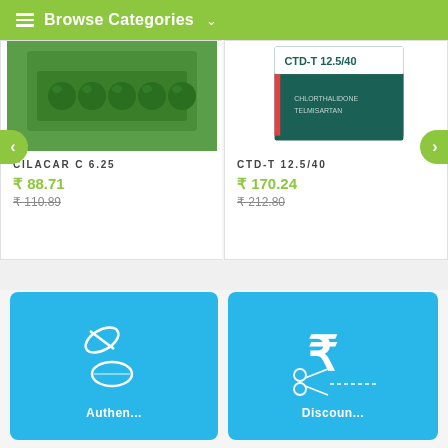≡ Browse Categories ∨
[Figure (photo): Green blister pill strip with circular green tablets visible]
CILACAR C 6.25
₹ 88.71
₹ 110.89 (strikethrough)
[Figure (photo): CTD-T 12.5/40 medicine box with green and teal packaging]
CTD-T 12.5/40
₹ 170.24
₹ 212.80 (strikethrough)
[Figure (illustration): Blue card with white pill/capsule icon - Authentic medicines category]
[Figure (illustration): Blue card with white Indian Rupee symbol and scissors cutting dashed line - Discounted medicines category]